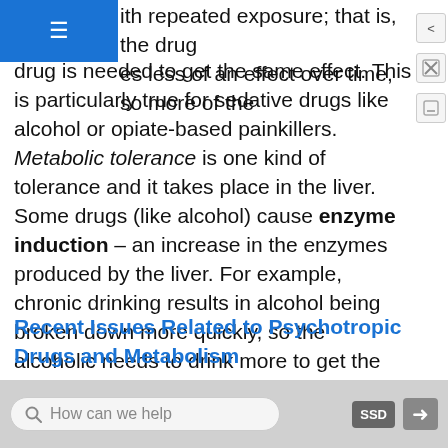with repeated exposure; that is, the drug es less of an effect over time, so more of the drug is needed to get the same effect. This is particularly true for sedative drugs like alcohol or opiate-based painkillers. Metabolic tolerance is one kind of tolerance and it takes place in the liver. Some drugs (like alcohol) cause enzyme induction – an increase in the enzymes produced by the liver. For example, chronic drinking results in alcohol being broken down more quickly, so the alcoholic needs to drink more to get the same effect – of course, until so much alcohol is consumed that it damages the liver (alcohol can cause fatty liver or cirrhosis).
Recent Issues Related to Psychotropic Drugs and Metabolism